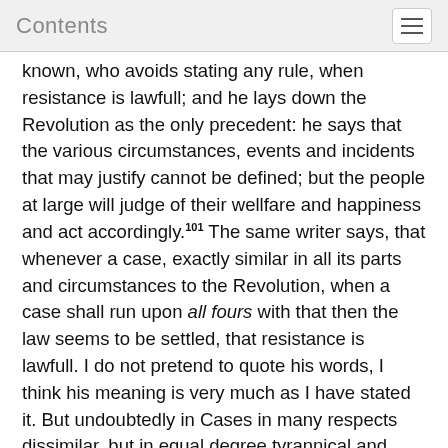Contents
known, who avoids stating any rule, when resistance is lawfull; and he lays down the Revolution as the only precedent: he says that the various circumstances, events and incidents that may justify cannot be defined; but the people at large will judge of their wellfare and happiness and act accordingly.¹⁰¹ The same writer says, that whenever a case, exactly similar in all its parts and circumstances to the Revolution, when a case shall run upon all fours with that then the law seems to be settled, that resistance is lawfull. I do not pretend to quote his words, I think his meaning is very much as I have stated it. But undoubtedly in Cases in many respects dissimilar, but in equal degree tyrannical and oppressive, resistance may be lawfull,